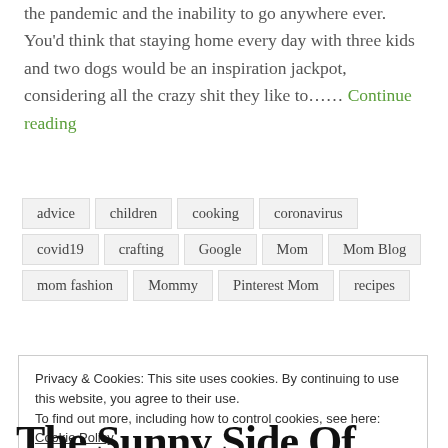the pandemic and the inability to go anywhere ever. You'd think that staying home every day with three kids and two dogs would be an inspiration jackpot, considering all the crazy shit they like to…… Continue reading
advice  children  cooking  coronavirus  covid19  crafting  Google  Mom  Mom Blog  mom fashion  Mommy  Pinterest Mom  recipes
Privacy & Cookies: This site uses cookies. By continuing to use this website, you agree to their use. To find out more, including how to control cookies, see here: Cookie Policy
The Sunny Side Of